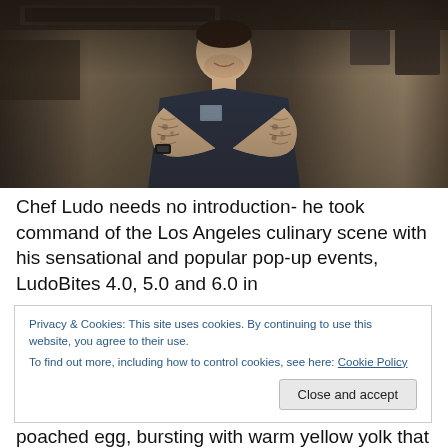[Figure (photo): Chef Ludo standing with arms crossed in a restaurant kitchen, wearing a dark uniform, with tattoos visible on his arms. Kitchen equipment visible in background.]
Chef Ludo needs no introduction- he took command of the Los Angeles culinary scene with his sensational and popular pop-up events, LudoBites 4.0, 5.0 and 6.0 in
Privacy & Cookies: This site uses cookies. By continuing to use this website, you agree to their use.
To find out more, including how to control cookies, see here: Cookie Policy
poached egg, bursting with warm yellow yolk that melted